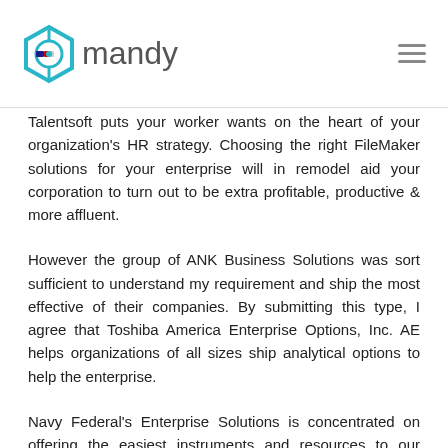mandy
Talentsoft puts your worker wants on the heart of your organization's HR strategy. Choosing the right FileMaker solutions for your enterprise will in remodel aid your corporation to turn out to be extra profitable, productive & more affluent.
However the group of ANK Business Solutions was sort sufficient to understand my requirement and ship the most effective of their companies. By submitting this type, I agree that Toshiba America Enterprise Options, Inc. AE helps organizations of all sizes ship analytical options to help the enterprise.
Navy Federal's Enterprise Solutions is concentrated on offering the easiest instruments and resources to our members. A number of the players in this delicate field are